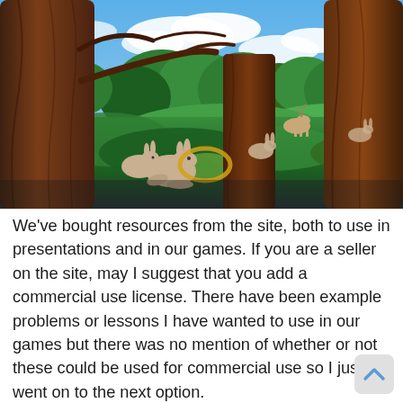[Figure (illustration): A digitally illustrated forest scene with tall brown tree trunks in the foreground, lush green grass and foliage on the ground, rabbits/hares and a deer visible among the trees, and a bright blue sky with white clouds in the background. A golden ring/hoop is partially visible near the center.]
We've bought resources from the site, both to use in presentations and in our games. If you are a seller on the site, may I suggest that you add a commercial use license. There have been example problems or lessons I have wanted to use in our games but there was no mention of whether or not these could be used for commercial use so I just went on to the next option.